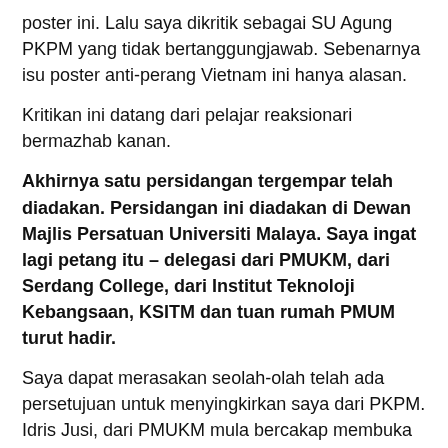poster ini. Lalu saya dikritik sebagai SU Agung PKPM yang tidak bertanggungjawab. Sebenarnya isu poster anti-perang Vietnam ini hanya alasan.
Kritikan ini datang dari pelajar reaksionari bermazhab kanan.
Akhirnya satu persidangan tergempar telah diadakan. Persidangan ini diadakan di Dewan Majlis Persatuan Universiti Malaya. Saya ingat lagi petang itu – delegasi dari PMUKM, dari Serdang College, dari Institut Teknoloji Kebangsaan, KSITM dan tuan rumah PMUM turut hadir.
Saya dapat merasakan seolah-olah telah ada persetujuan untuk menyingkirkan saya dari PKPM. Idris Jusi, dari PMUKM mula bercakap membuka kes tentang saya yang dikatakan tidak mengikut dasar PKPM dan dilihat pro-komunis.
Dari KSITM, presidennya Zahari tidak pula bercakap. Yang banyak bercakap ialah Ibrahim Ali.